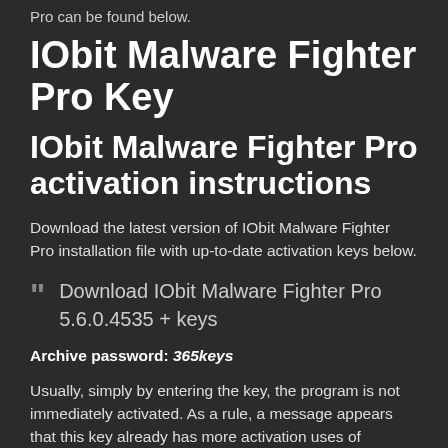Pro can be found below.
IObit Malware Fighter Pro Key
IObit Malware Fighter Pro activation instructions
Download the latest version of IObit Malware Fighter Pro installation file with up-to-date activation keys below.
Download IObit Malware Fighter Pro 5.6.0.4535 + keys
Archive password: 365keys
Usually, simply by entering the key, the program is not immediately activated. As a rule, a message appears that this key already has more activation uses of